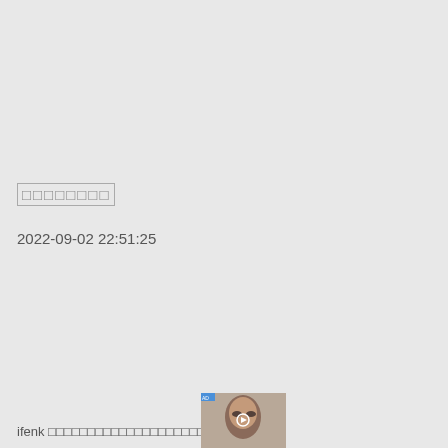□□□□□□□□
2022-09-02 22:51:25
ifenk □□□□□□□□□□□□□□□□□□□□□□